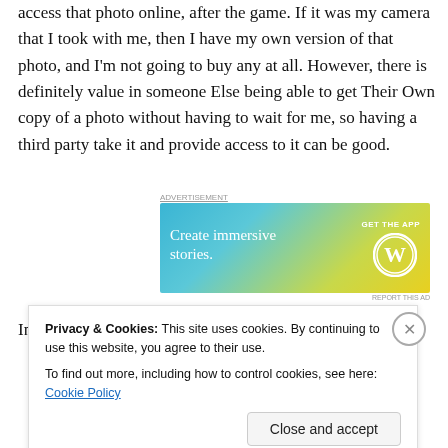access that photo online, after the game. If it was my camera that I took with me, then I have my own version of that photo, and I'm not going to buy any at all. However, there is definitely value in someone Else being able to get Their Own copy of a photo without having to wait for me, so having a third party take it and provide access to it can be good.
[Figure (other): Advertisement banner for WordPress app with text 'Create immersive stories.' and 'GET THE APP' with WordPress logo on a blue-green-yellow gradient background.]
In addition, I also place value on their somewhat hokey
Privacy & Cookies: This site uses cookies. By continuing to use this website, you agree to their use.
To find out more, including how to control cookies, see here: Cookie Policy
Close and accept